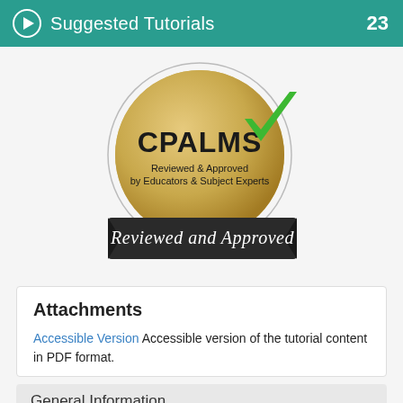Suggested Tutorials 23
[Figure (logo): CPALMS 'Reviewed and Approved' badge: gold textured circle with CPALMS text and green checkmark, dark ribbon banner reading 'Reviewed and Approved']
Attachments
Accessible Version Accessible version of the tutorial content in PDF format.
General Information